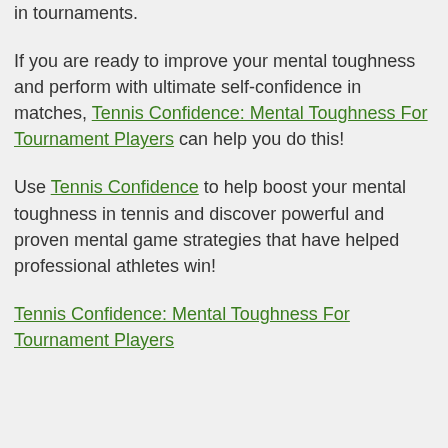in tournaments.
If you are ready to improve your mental toughness and perform with ultimate self-confidence in matches, Tennis Confidence: Mental Toughness For Tournament Players can help you do this!
Use Tennis Confidence to help boost your mental toughness in tennis and discover powerful and proven mental game strategies that have helped professional athletes win!
Tennis Confidence: Mental Toughness For Tournament Players